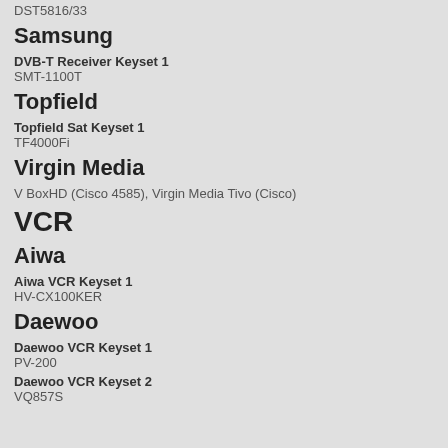DST5816/33
Samsung
DVB-T Receiver Keyset 1
SMT-1100T
Topfield
Topfield Sat Keyset 1
TF4000Fi
Virgin Media
V BoxHD (Cisco 4585), Virgin Media Tivo (Cisco)
VCR
Aiwa
Aiwa VCR Keyset 1
HV-CX100KER
Daewoo
Daewoo VCR Keyset 1
PV-200
Daewoo VCR Keyset 2
VQ857S